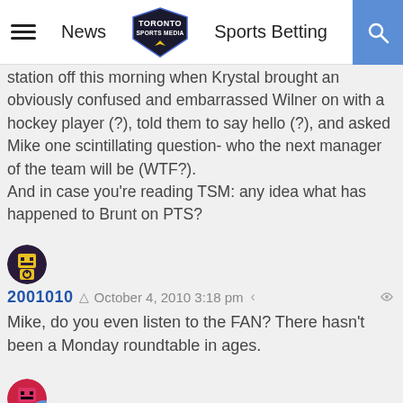News | Toronto Sports Media | Sports Betting
station off this morning when Krystal brought an obviously confused and embarrassed Wilner on with a hockey player (?), told them to say hello (?), and asked Mike one scintillating question- who the next manager of the team will be (WTF?). And in case you're reading TSM: any idea what has happened to Brunt on PTS?
2001010  ©  October 4, 2010 3:18 pm
Mike, do you even listen to the FAN? There hasn't been a Monday roundtable in ages.
R  ©  October 4, 2010 3:58 pm
Ok Brunt's there.... wow did you do that?